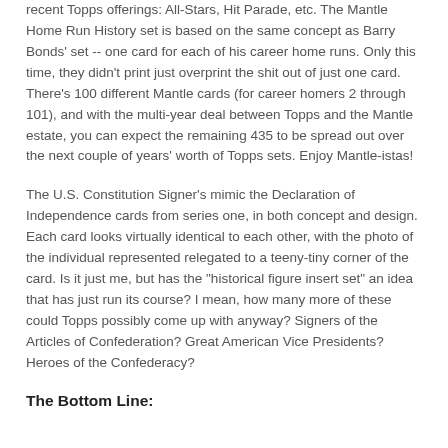recent Topps offerings: All-Stars, Hit Parade, etc. The Mantle Home Run History set is based on the same concept as Barry Bonds' set -- one card for each of his career home runs. Only this time, they didn't print just overprint the shit out of just one card. There's 100 different Mantle cards (for career homers 2 through 101), and with the multi-year deal between Topps and the Mantle estate, you can expect the remaining 435 to be spread out over the next couple of years' worth of Topps sets. Enjoy Mantle-istas!
The U.S. Constitution Signer's mimic the Declaration of Independence cards from series one, in both concept and design. Each card looks virtually identical to each other, with the photo of the individual represented relegated to a teeny-tiny corner of the card. Is it just me, but has the "historical figure insert set" an idea that has just run its course? I mean, how many more of these could Topps possibly come up with anyway? Signers of the Articles of Confederation? Great American Vice Presidents? Heroes of the Confederacy?
The Bottom Line: